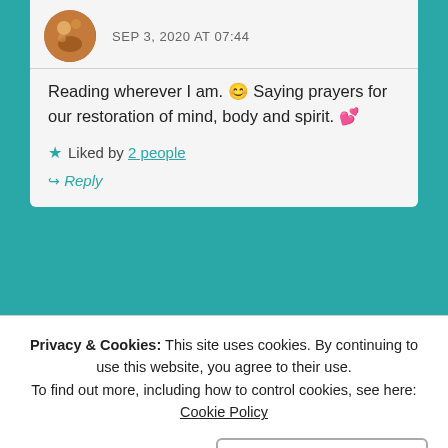SEP 3, 2020 AT 07:44
Reading wherever I am. 😊 Saying prayers for our restoration of mind, body and spirit. 💕
★ Liked by 2 people
↪ Reply
ELIZA says:
Privacy & Cookies: This site uses cookies. By continuing to use this website, you agree to their use.
To find out more, including how to control cookies, see here: Cookie Policy
Close and accept